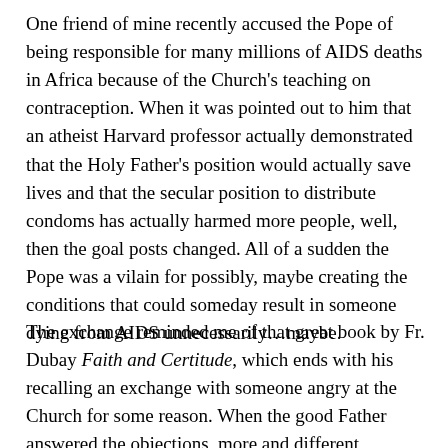One friend of mine recently accused the Pope of being responsible for many millions of AIDS deaths in Africa because of the Church's teaching on contraception. When it was pointed out to him that an atheist Harvard professor actually demonstrated that the Holy Father's position would actually save lives and that the secular position to distribute condoms has actually harmed more people, well, then the goal posts changed. All of a sudden the Pope was a vilain for possibly, maybe creating the conditions that could someday result in someone dying from AIDS unnecessarily…maybe.
The exchange reminded me of that great book by Fr. Dubay Faith and Certitude, which ends with his recalling an exchange with someone angry at the Church for some reason. When the good Father answered the objections, more and different